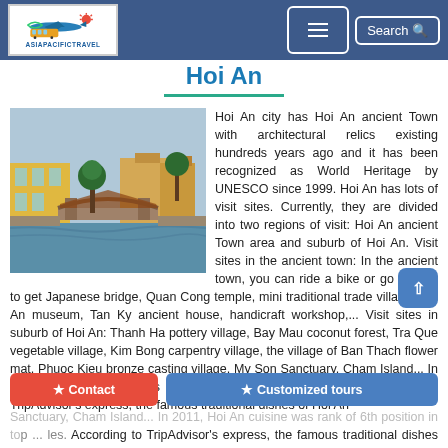AsiaPacificTravel navigation header with logo, menu button, and Search button
Hoi An
[Figure (photo): Photo of Hoi An ancient town showing the Japanese Covered Bridge over a canal with yellow colonial buildings and tropical trees]
Hoi An city has Hoi An ancient Town with architectural relics existing hundreds years ago and it has been recognized as World Heritage by UNESCO since 1999. Hoi An has lots of visit sites. Currently, they are divided into two regions of visit: Hoi An ancient Town area and suburb of Hoi An. Visit sites in the ancient town: In the ancient town, you can ride a bike or go on foot to get Japanese bridge, Quan Cong temple, mini traditional trade village, Hoi An museum, Tan Ky ancient house, handicraft workshop,... Visit sites in suburb of Hoi An: Thanh Ha pottery village, Bay Mau coconut forest, Tra Que vegetable village, Kim Bong carpentry village, the village of Ban Thach flower mat, Phuoc Kieu bronze casting village, My Son Sanctuary, Cham Island... In 2011, Hoi An cuisine was rank of 6th position in top ... dishes. According to TripAdvisor's express, the famous traditional dishes of Hoi An
Contact
Customized tours